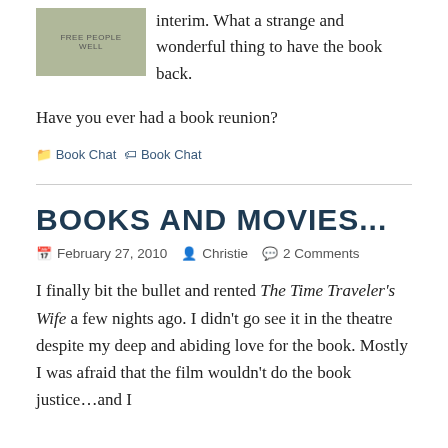[Figure (photo): Book cover image thumbnail with greenish-gray background, partially visible text]
interim. What a strange and wonderful thing to have the book back.
Have you ever had a book reunion?
📁 Book Chat 🏷 Book Chat
BOOKS AND MOVIES...
February 27, 2010  Christie  2 Comments
I finally bit the bullet and rented The Time Traveler's Wife a few nights ago. I didn't go see it in the theatre despite my deep and abiding love for the book. Mostly I was afraid that the film wouldn't do the book justice...and I